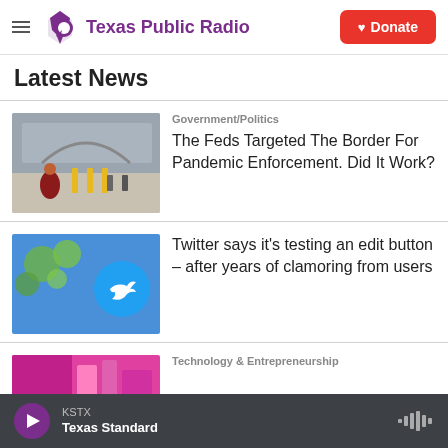Texas Public Radio | Donate
Latest News
[Figure (photo): Person at border crossing viewed from behind]
Government/Politics
The Feds Targeted The Border For Pandemic Enforcement. Did It Work?
[Figure (photo): Twitter blue bird logo on blue background with tree branches]
Twitter says it's testing an edit button – after years of clamoring from users
[Figure (photo): Partial image of article with pink/magenta colors]
Technology & Entrepreneurship
KSTX | Texas Standard | Play button